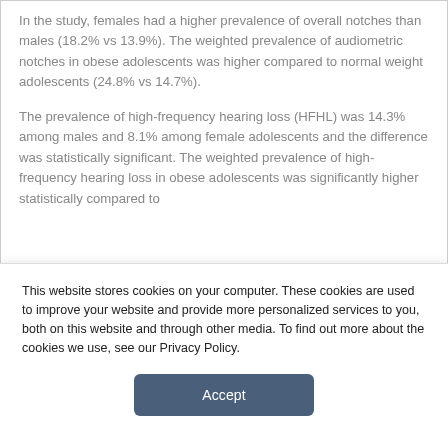In the study, females had a higher prevalence of overall notches than males (18.2% vs 13.9%). The weighted prevalence of audiometric notches in obese adolescents was higher compared to normal weight adolescents (24.8% vs 14.7%).
The prevalence of high-frequency hearing loss (HFHL) was 14.3% among males and 8.1% among female adolescents and the difference was statistically significant. The weighted prevalence of high-frequency hearing loss in obese adolescents was significantly higher statistically compared to
This website stores cookies on your computer. These cookies are used to improve your website and provide more personalized services to you, both on this website and through other media. To find out more about the cookies we use, see our Privacy Policy.